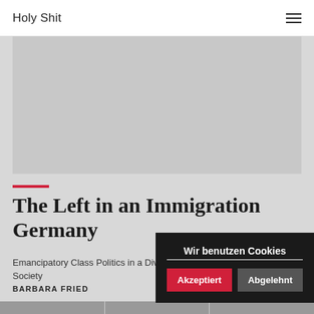Holy Shit
[Figure (photo): Large grey placeholder image area at top of article]
The Left in an Immigration Germany
Emancipatory Class Politics in a Diverse Society
BARBARA FRIED
[Figure (photo): Thumbnail strip of photos at the bottom of the page]
Wir benutzen Cookies
Akzeptiert
Abgelehnt